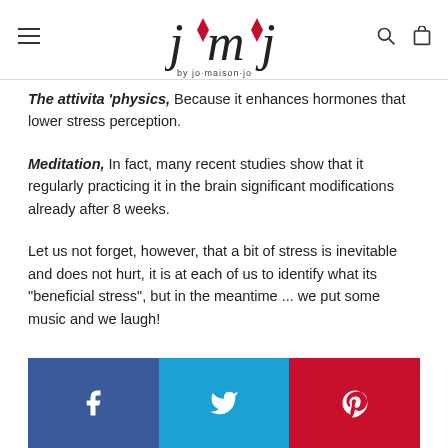jmj by jo·maison·jo
The attivita 'physics, Because it enhances hormones that lower stress perception.
Meditation, In fact, many recent studies show that it regularly practicing it in the brain significant modifications already after 8 weeks.
Let us not forget, however, that a bit of stress is inevitable and does not hurt, it is at each of us to identify what its "beneficial stress", but in the meantime ... we put some music and we laugh!
[Figure (infographic): Social sharing bar with Facebook, Twitter, and Pinterest buttons]